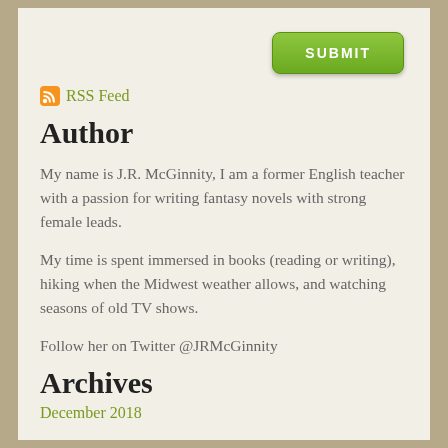[Figure (other): Green SUBMIT button in upper right area]
RSS Feed
Author
My name is J.R. McGinnity, I am a former English teacher with a passion for writing fantasy novels with strong female leads.
My time is spent immersed in books (reading or writing), hiking when the Midwest weather allows, and watching seasons of old TV shows.
Follow her on Twitter @JRMcGinnity
Archives
December 2018